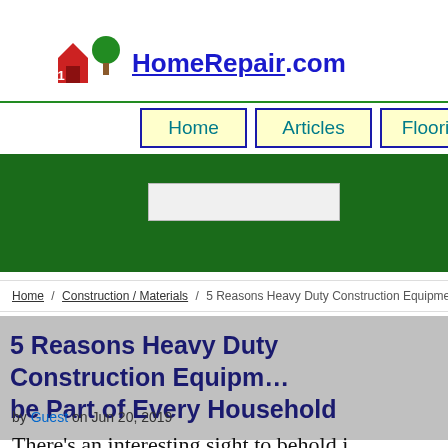411HomeRepair.com
Home | Articles | Flooring
Home / Construction / Materials / 5 Reasons Heavy Duty Construction Equipment Should be
5 Reasons Heavy Duty Construction Equipment Should be Part of Every Household
by Guest on Jun 20, 2019
There's an interesting sight to behold i